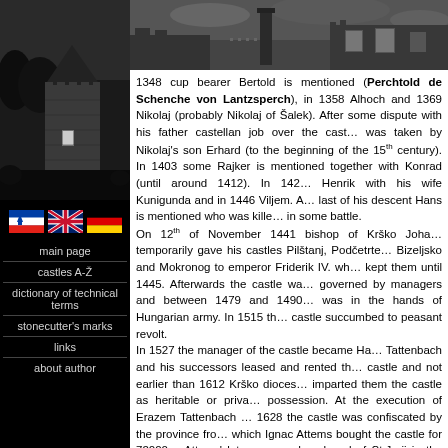[Figure (photo): Black and white photo of a castle tower with conical roof on the left column]
[Figure (photo): Black and white photo of castle ruins spanning the top of the right column]
[Figure (illustration): Three national flag icons: Slovenian, British (Union Jack), and German flags]
main page
castles A-Ž
dictionary of technical terms
stonecutter's marks
links
about author
1348 cup bearer Bertold is mentioned (Perchtold de Schenche von Lantzsperch), in 1358 Alhoch and 1369 Nikolaj (probably Nikolaj of Šalek). After some dispute with his father castellan job over the castle was taken by Nikolaj's son Erhard (to the beginning of the 15th century). In 1403 some Rajker is mentioned together with Konrad (until around 1412). In 142… Henrik with his wife Kunigunda and in 1446 Viljem. A… last of his descent Hans is mentioned who was kille… in some battle. On 12th of November 1441 bishop of Krško Joha… temporarily gave his castles Pilštanj, Podčetrte… Bizeljsko and Mokronog to emperor Friderik IV. wh… kept them until 1445. Afterwards the castle wa… governed by managers and between 1479 and 1490… was in the hands of Hungarian army. In 1515 th… castle succumbed to peasant revolt. In 1527 the manager of the castle became Ha… Tattenbach and his successors leased and rented th… castle and not earlier than 1612 Krško dioces… imparted them the castle as heritable or priva… possession. At the execution of Erazem Tattenbach … 1628 the castle was confiscated by the province fro… which Ignac Attems bought the castle for 72000… Attems' later arranged a chapel of St.Jurii in the cas…